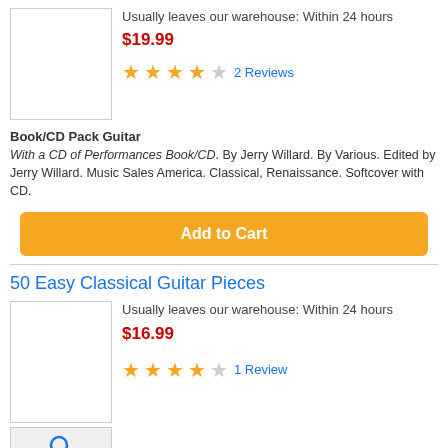[Figure (photo): Product image placeholder (white box with border)]
Usually leaves our warehouse: Within 24 hours
$19.99
★★★★☆ 2 Reviews
Book/CD Pack Guitar
With a CD of Performances Book/CD. By Jerry Willard. By Various. Edited by Jerry Willard. Music Sales America. Classical, Renaissance. Softcover with CD.
Add to Cart
50 Easy Classical Guitar Pieces
[Figure (photo): Product image placeholder (white box with border)]
Usually leaves our warehouse: Within 24 hours
$16.99
★★★★☆ 1 Review
[Figure (photo): Search icon button placeholder]